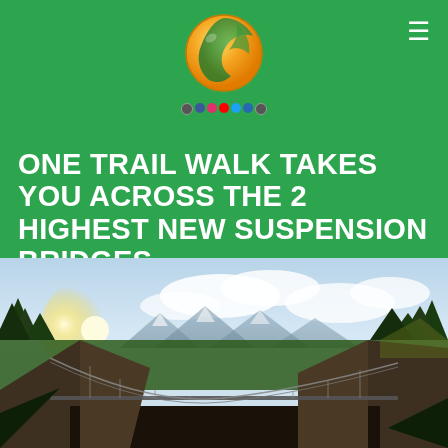[Figure (logo): Green and orange globe logo with swirl design, centered at top of green header]
ONE TRAIL WALK TAKES YOU ACROSS THE 2 HIGHEST NEW SUSPENSION BRIDGES
Adventure
[Figure (photo): Landscape photograph of a suspension bridge over a deep gorge with forest trees on both sides, mountains in background with bright sun breaking through clouds]